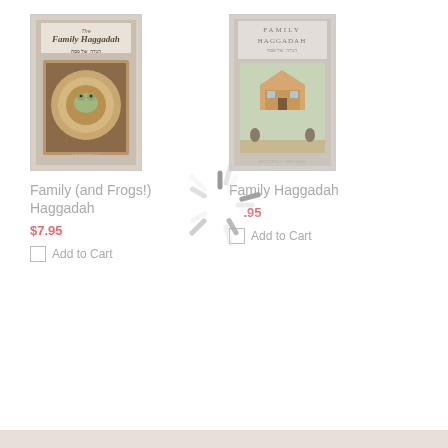[Figure (photo): Book cover for 'Family (and Frogs!) Haggadah' showing a seder plate with frogs]
Family (and Frogs!) Haggadah
$7.95
Add to Cart
[Figure (photo): Book cover for 'Family Haggadah' showing a family seder scene]
Family Haggadah
$7.95
Add to Cart
[Figure (illustration): Loading spinner (spinning wheel animation) overlaid on the page center]